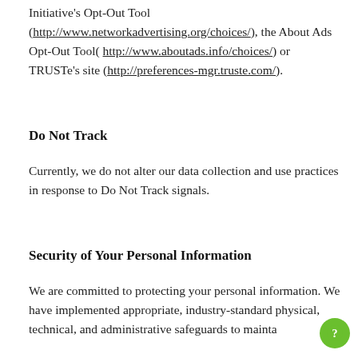Initiative's Opt-Out Tool (http://www.networkadvertising.org/choices/), the About Ads Opt-Out Tool( http://www.aboutads.info/choices/) or TRUSTe's site (http://preferences-mgr.truste.com/).
Do Not Track
Currently, we do not alter our data collection and use practices in response to Do Not Track signals.
Security of Your Personal Information
We are committed to protecting your personal information. We have implemented appropriate, industry-standard physical, technical, and administrative safeguards to mainta